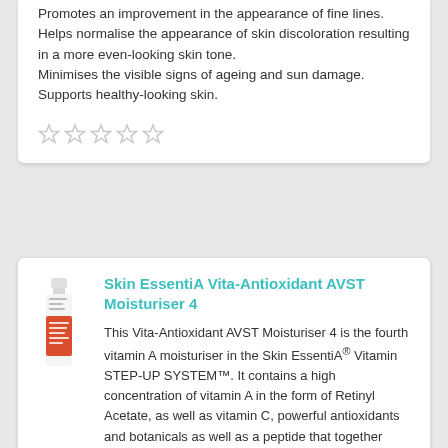Promotes an improvement in the appearance of fine lines.
Helps normalise the appearance of skin discoloration resulting in a more even-looking skin tone.
Minimises the visible signs of ageing and sun damage.
Supports healthy-looking skin.
[Figure (other): Five empty star rating icons in a row]
Skin EssentiA Vita-Antioxidant AVST Moisturiser 4
[Figure (photo): Small product bottle image - Skin EssentiA Vita-Antioxidant AVST Moisturiser 4, white top with red/orange label]
This Vita-Antioxidant AVST Moisturiser 4 is the fourth vitamin A moisturiser in the Skin EssentiA® Vitamin STEP-UP SYSTEM™.  It contains a high concentration of vitamin A in the form of Retinyl Acetate, as well as vitamin C, powerful antioxidants and botanicals as well as a peptide that together help to revitalise the appearance of the skin cells resulting in a more youthful-looking complexion with the appearance of a